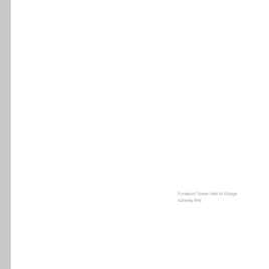Funabori Tower Hall of Edoga subway line.